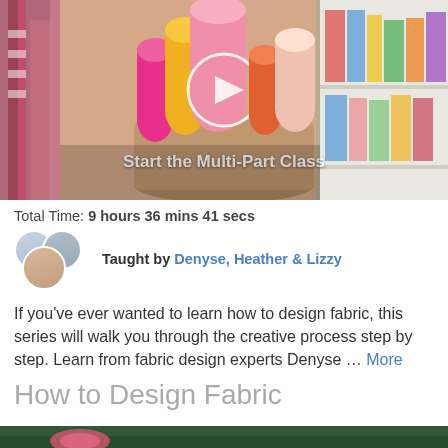[Figure (screenshot): Hero image showing colorful rolled fabric bolts in a tin, with a play button overlay and 'Start the Multi-Part Class' label. Right side shows folded fabrics on shelves.]
Total Time: 9 hours 36 mins 41 secs
Taught by Denyse, Heather & Lizzy
If you've ever wanted to learn how to design fabric, this series will walk you through the creative process step by step. Learn from fabric design experts Denyse … More
How to Design Fabric
[Figure (photo): Bottom portion of a photo with dark green background, partially visible.]